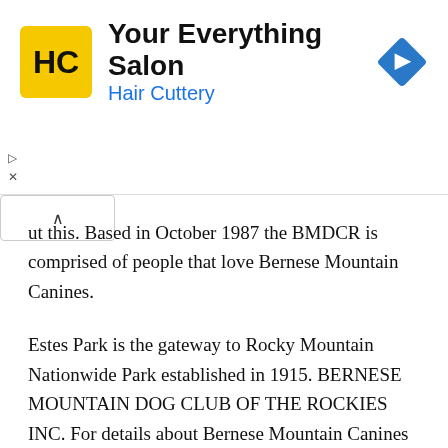[Figure (infographic): Hair Cuttery advertisement banner with logo (HC in yellow circle), title 'Your Everything Salon', subtitle 'Hair Cuttery' in blue, and a blue diamond navigation icon on the right.]
ut this. Based in October 1987 the BMDCR is comprised of people that love Bernese Mountain Canines.
Estes Park is the gateway to Rocky Mountain Nationwide Park established in 1915. BERNESE MOUNTAIN DOG CLUB OF THE ROCKIES INC. For details about Bernese Mountain Canines go to Bernese Mountain Canine Membership of the Rockies.
Heartland Bernese Mountain Canine